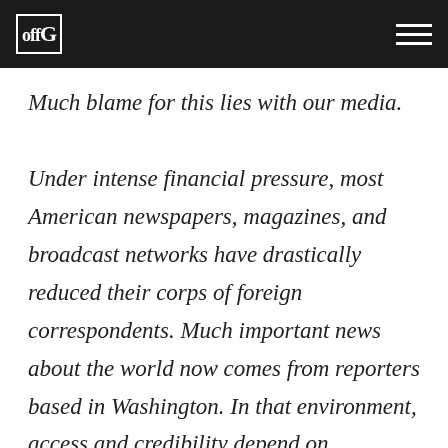offG
Much blame for this lies with our media. Under intense financial pressure, most American newspapers, magazines, and broadcast networks have drastically reduced their corps of foreign correspondents. Much important news about the world now comes from reporters based in Washington. In that environment, access and credibility depend on acceptance of official paradigms. Reporters who cover Syria check with the